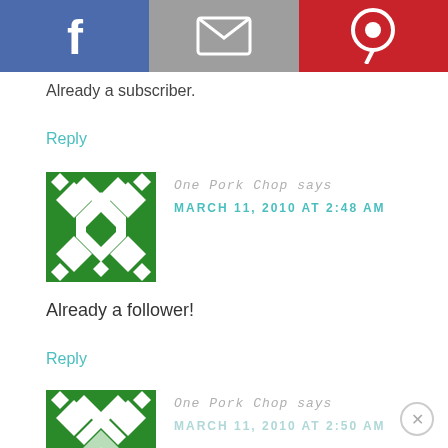[Figure (other): Social share bar with Facebook, email, and Pinterest icons]
Already a subscriber.
Reply
[Figure (illustration): Green geometric avatar icon for One Pork Chop]
One Pork Chop says
MARCH 11, 2010 AT 2:48 AM
Already a follower!
Reply
[Figure (illustration): Green geometric avatar icon for One Pork Chop (second comment, partially visible)]
One Pork Chop says
MARCH 11, 2010 AT 2:50 AM